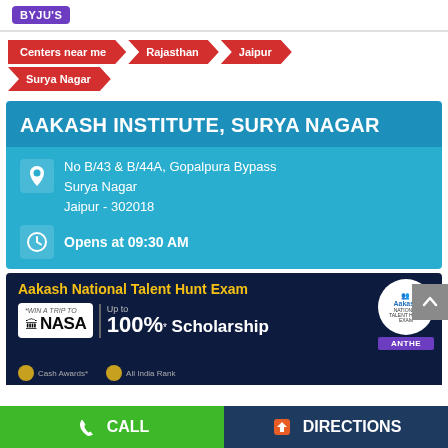BYJU'S
Centers near me
Rajasthan
Jaipur
Surya Nagar
AAKASH INSTITUTE, SURYA NAGAR
No B/43 & B/44A, Gopalpura Bypass
Surya Nagar
Jaipur - 302018
Opens at 09:30 AM
[Figure (infographic): Aakash National Talent Hunt Exam banner with NASA trip prize, Up to 100%* Scholarship, and ANTHE logo. Shows Cash Awards and All India Rank badges at bottom.]
CALL   DIRECTIONS